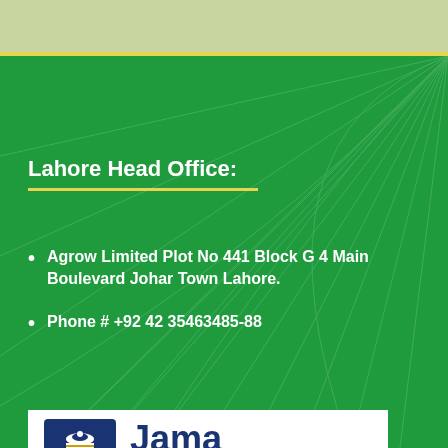Lahore Head Office:
Agrow Limited Plot No 441 Block G 4 Main Boulevard Johar Town Lahore.
Phone # +92 42 35463485-88
[Figure (logo): Jama Punji logo with dark blue square icon and text 'Jama Punji']